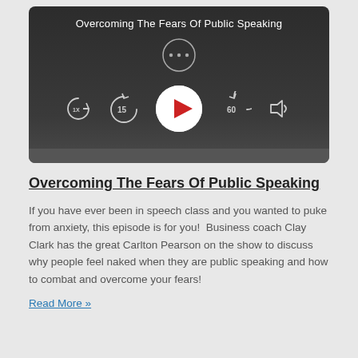[Figure (screenshot): Podcast audio player with dark background showing title 'Overcoming The Fears Of Public Speaking', playback controls including speed (1x), rewind 15 seconds, play button, forward 60 seconds, and volume button]
Overcoming The Fears Of Public Speaking
If you have ever been in speech class and you wanted to puke from anxiety, this episode is for you!  Business coach Clay Clark has the great Carlton Pearson on the show to discuss why people feel naked when they are public speaking and how to combat and overcome your fears!
Read More »